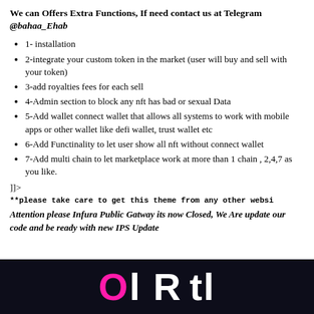We can Offers Extra Functions, If need contact us at Telegram @bahaa_Ehab
1- installation
2-integrate your custom token in the market (user will buy and sell with your token)
3-add royalties fees for each sell
4-Admin section to block any nft has bad or sexual Data
5-Add wallet connect wallet that allows all systems to work with mobile apps or other wallet like defi wallet, trust wallet etc
6-Add Functinality to let user show all nft without connect wallet
7-Add multi chain to let marketplace work at more than 1 chain , 2,4,7 as you like.
]]>
**please take care to get this theme from any other websi
Attention please Infura Public Gatway its now Closed, We Are update our code and be ready with new IPS Update
[Figure (other): Dark banner with pink and white large text reading partial letters resembling branding or logo]